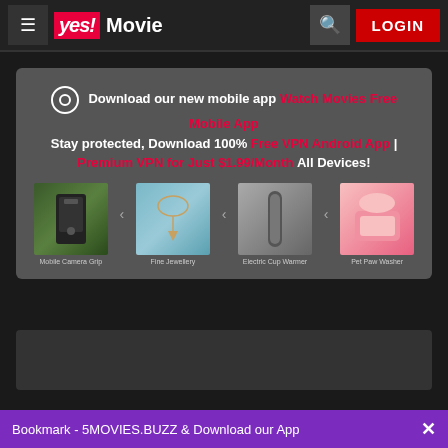[Figure (screenshot): yes! Movie website navigation bar with hamburger menu, yes! Movie logo, search icon, and red LOGIN button]
Download our new mobile app Watch Movies Free Mobile App Stay protected, Download 100% Free VPN Android App | Premium VPN for Just $1.99/Month All Devices!
[Figure (infographic): Four product thumbnails: Mobile Camera Grip, Fine Jewellery, Electric Cup Warmer, Pet Paw Washer with arrow icons between them]
Bookmark - 5MOVIES.BUZZ & Download our App